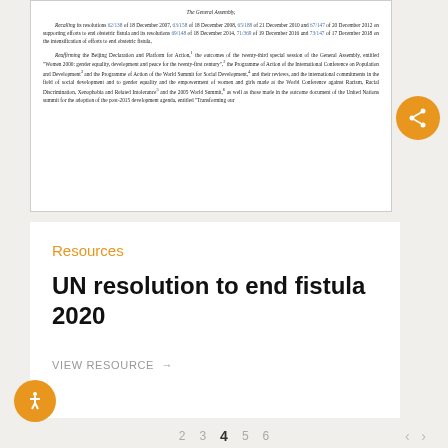[Figure (screenshot): Preview of a UN General Assembly resolution document about obstetric fistula. Shows italic heading 'The General Assembly,' followed by paragraphs recalling resolutions 62/138, 63/158, 65/188, 67/147, 69/148, 71/369, 73/147 and reaffirming the Beijing Declaration and Platform for Action, Programme of Action references.]
Resources
UN resolution to end fistula 2020
VIEW RESOURCE →
2  3  4  5  6